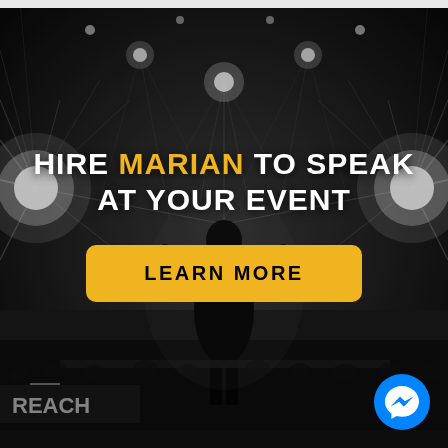[Figure (photo): Black and white photo of a speaker silhouetted on stage facing an audience, with bright stage lights radiating from behind and to sides, dramatic starburst light effects. A banner with REACH text visible at bottom left.]
HIRE MARIAN TO SPEAK AT YOUR EVENT
LEARN MORE